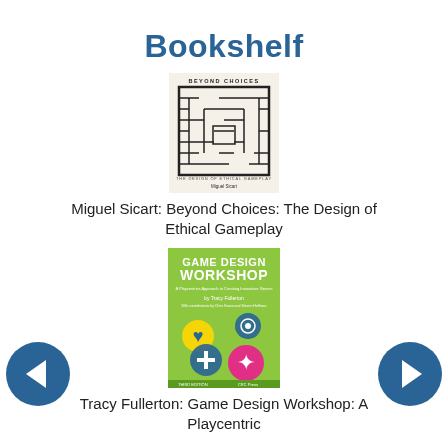Bookshelf
[Figure (photo): Book cover: Beyond Choices: The Design of Ethical Gameplay by Miguel Sicart. Black and white maze/labyrinth design on cover.]
Miguel Sicart: Beyond Choices: The Design of Ethical Gameplay
[Figure (photo): Book cover: Game Design Workshop by Tracy Fullerton. Green cover with colorful circular game tokens/icons.]
Tracy Fullerton: Game Design Workshop: A Playcentric